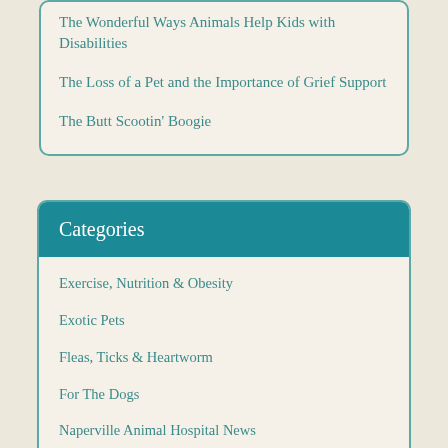The Wonderful Ways Animals Help Kids with Disabilities
The Loss of a Pet and the Importance of Grief Support
The Butt Scootin' Boogie
Categories
Exercise, Nutrition & Obesity
Exotic Pets
Fleas, Ticks & Heartworm
For The Dogs
Naperville Animal Hospital News
Pet Dental Care
Pet Emergency & First Aid